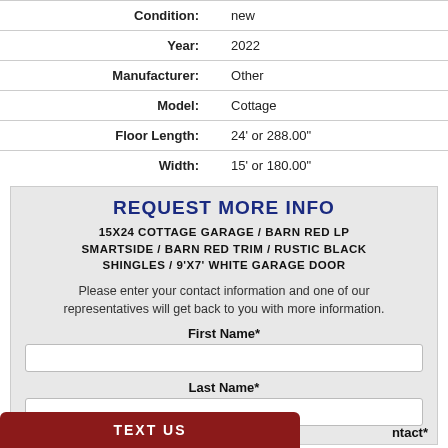| Condition: | new |
| Year: | 2022 |
| Manufacturer: | Other |
| Model: | Cottage |
| Floor Length: | 24' or 288.00" |
| Width: | 15' or 180.00" |
REQUEST MORE INFO
15X24 COTTAGE GARAGE / BARN RED LP SMARTSIDE / BARN RED TRIM / RUSTIC BLACK SHINGLES / 9'X7' WHITE GARAGE DOOR
Please enter your contact information and one of our representatives will get back to you with more information.
First Name*
Last Name*
ntact*